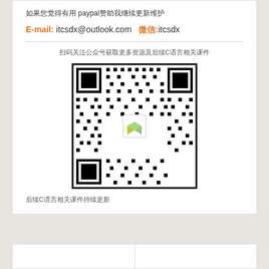如果您觉得有用 paypal赞助我继续更新维护
E-mail: itcsdx@outlook.com  微信:itcsdx
扫码关注公众号获取更多资源及后续C语言相关课件
[Figure (other): QR code with a logo in the center (a 3D box icon in green/gold) for a WeChat public account]
后续C语言相关课件持续更新